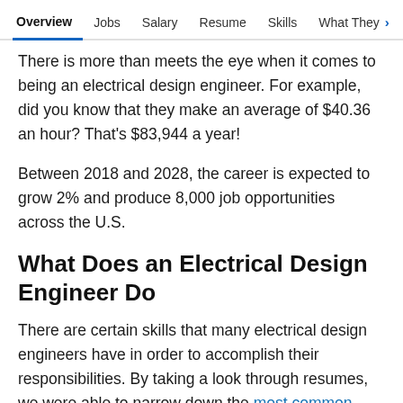Overview  Jobs  Salary  Resume  Skills  What They >
There is more than meets the eye when it comes to being an electrical design engineer. For example, did you know that they make an average of $40.36 an hour? That's $83,944 a year!
Between 2018 and 2028, the career is expected to grow 2% and produce 8,000 job opportunities across the U.S.
What Does an Electrical Design Engineer Do
There are certain skills that many electrical design engineers have in order to accomplish their responsibilities. By taking a look through resumes, we were able to narrow down the most common skills for a person in this position. We discovered that a lot of